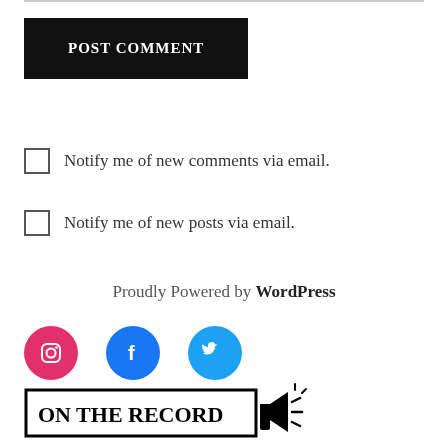POST COMMENT
Notify me of new comments via email.
Notify me of new posts via email.
Proudly Powered by WordPress
[Figure (illustration): Three social media icons: Instagram (pink/magenta circle), Facebook (blue circle), Twitter (light blue circle)]
[Figure (logo): ON THE RECORD logo with megaphone icon and sound waves, text in bold serif font inside a rectangular border]